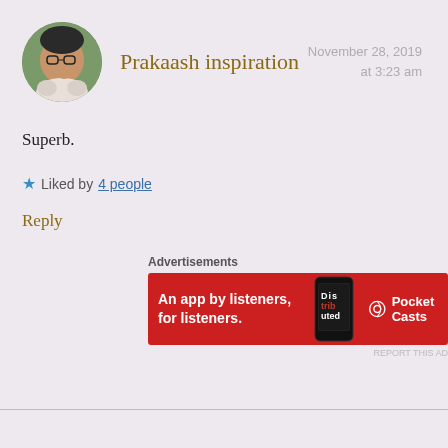[Figure (photo): Circular avatar photo of a man wearing glasses, sitting with hand near chin, outdoors with greenery behind him.]
Prakaash inspiration
November 28, 2019 at 3:23 am
Superb.
★ Liked by 4 people
Reply
Advertisements
[Figure (screenshot): Advertisement banner for Pocket Casts app on a red background. Text reads: 'An app by listeners, for listeners.' with a phone image and Pocket Casts logo.]
REPORT THIS AD